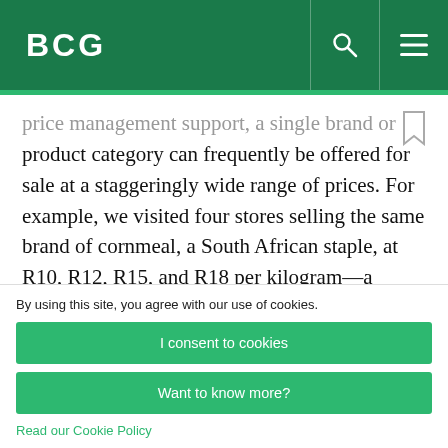BCG
price management support, a single brand or product category can frequently be offered for sale at a staggeringly wide range of prices. For example, we visited four stores selling the same brand of cornmeal, a South African staple, at R10, R12, R15, and R18 per kilogram—a spread that
By using this site, you agree with our use of cookies.
I consent to cookies
Want to know more?
Read our Cookie Policy